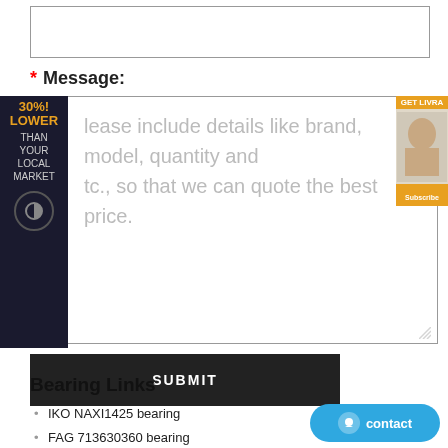[textarea input box]
* Message:
Please include details like brand, model, quantity and etc., so that we can quote the best price.
SUBMIT
Bearing Links
IKO NAXI1425 bearing
FAG 713630360 bearing
INA SL014840 bearing
FAG B71908-E-T-P4S bearing
INA NN3076-AS-K-M-SP bearing
NSK B205-1 bearing
NACHI 7204BDF bearing
NTN NJ2236E bearing